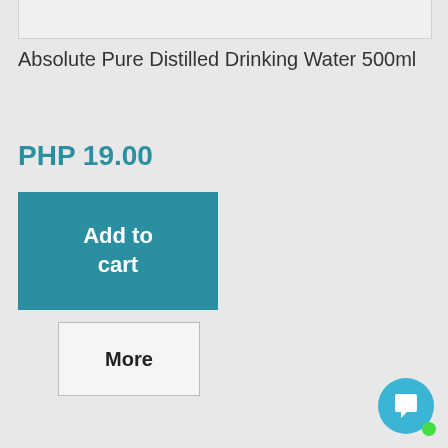[Figure (photo): Top portion of a product image container, white background with grey border, partially visible]
Absolute Pure Distilled Drinking Water 500ml
PHP 19.00
Add to cart
More
Add to Wishlist
Add to Compare
[Figure (photo): Bottom product image showing a bottle cap/top of a bottled water product on white background]